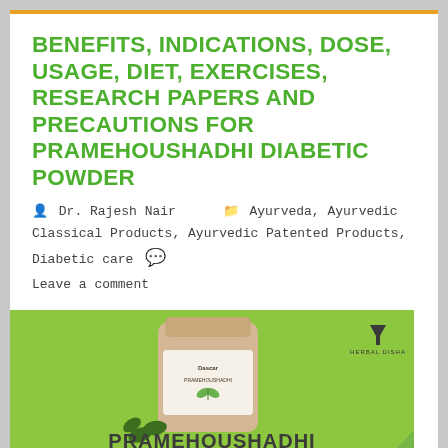BENEFITS, INDICATIONS, DOSE, USAGE, DIET, EXERCISES, RESEARCH PAPERS AND PRECAUTIONS FOR PRAMEHOUSHADHI DIABETIC POWDER
Dr. Rajesh Nair   Ayurveda, Ayurvedic Classical Products, Ayurvedic Patented Products, Diabetic care   Leave a comment
[Figure (photo): Product image of Pramehoushadhi Diabetic Powder in a jar on a green background with text 'PRAMEHOUSHADHI DIABETIC POWDER' and a small logo 'HERBAL DISHA' with a funnel icon.]